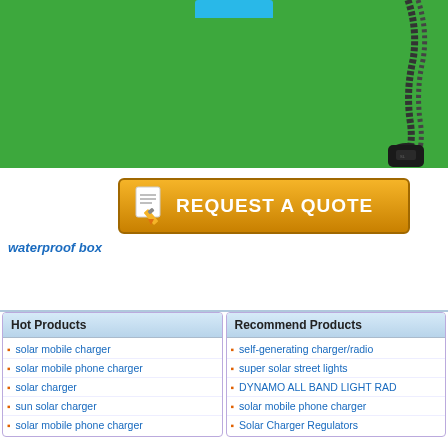[Figure (photo): Product photo showing a solar charger device with a blue component on a green background, with a black connector/dongle with braided rope on the right side.]
[Figure (other): Orange 'REQUEST A QUOTE' button with a pencil/document icon on the left.]
waterproof box
Hot Products
solar mobile charger
solar mobile phone charger
solar charger
sun solar charger
solar mobile phone charger
Recommend Products
self-generating charger/radio
super solar street lights
DYNAMO ALL BAND LIGHT RAD
solar mobile phone charger
Solar Charger Regulators